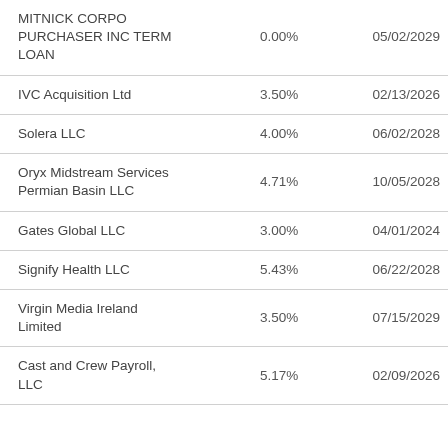| Name | Rate | Maturity |
| --- | --- | --- |
| MITNICK CORPO PURCHASER INC TERM LOAN | 0.00% | 05/02/2029 |
| IVC Acquisition Ltd | 3.50% | 02/13/2026 |
| Solera LLC | 4.00% | 06/02/2028 |
| Oryx Midstream Services Permian Basin LLC | 4.71% | 10/05/2028 |
| Gates Global LLC | 3.00% | 04/01/2024 |
| Signify Health LLC | 5.43% | 06/22/2028 |
| Virgin Media Ireland Limited | 3.50% | 07/15/2029 |
| Cast and Crew Payroll, LLC | 5.17% | 02/09/2026 |